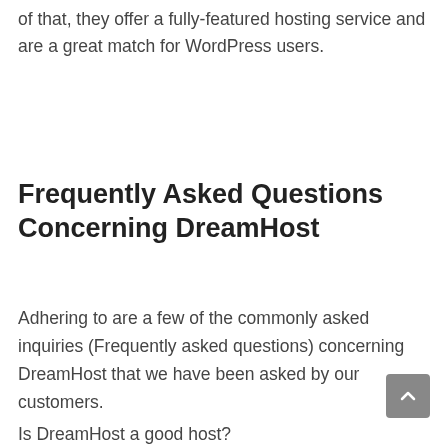of that, they offer a fully-featured hosting service and are a great match for WordPress users.
Frequently Asked Questions Concerning DreamHost
Adhering to are a few of the commonly asked inquiries (Frequently asked questions) concerning DreamHost that we have been asked by our customers.
Is DreamHost a good host?